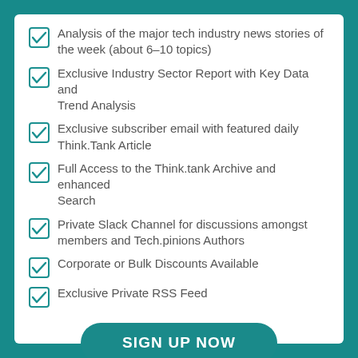Analysis of the major tech industry news stories of the week (about 6-10 topics)
Exclusive Industry Sector Report with Key Data and Trend Analysis
Exclusive subscriber email with featured daily Think.Tank Article
Full Access to the Think.tank Archive and enhanced Search
Private Slack Channel for discussions amongst members and Tech.pinions Authors
Corporate or Bulk Discounts Available
Exclusive Private RSS Feed
SIGN UP NOW